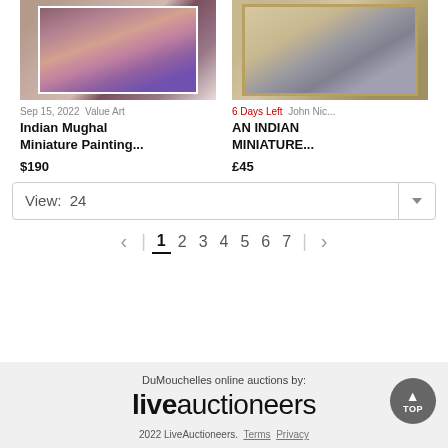[Figure (photo): Thumbnail of Indian Mughal Miniature Painting with purple border, showing court scene figures]
[Figure (photo): Thumbnail of An Indian Miniature painting in gold frame showing a figure reclining]
Sep 15, 2022  Value Art
6 Days Left  John Nic...
Indian Mughal Miniature Painting...
AN INDIAN MINIATURE...
$190
£45
View:  24
< | 1 2 3 4 5 6 7 | >
DuMouchelles online auctions by:
liveauctioneers
2022 LiveAuctioneers.  Terms  Privacy